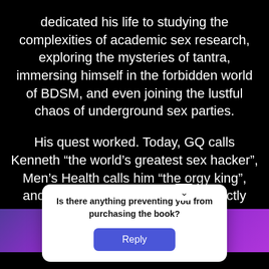dedicated his life to studying the complexities of academic sex research, exploring the mysteries of tantra, immersing himself in the forbidden world of BDSM, and even joining the lustful chaos of underground sex parties.
His quest worked. Today, GQ calls Kenneth “the world’s greatest sex hacker”, Men’s Health calls him “the orgy king”, and he is now ready to tell you exactly what he has learned.
Is there anything preventing you from purchasing the book?
Reply